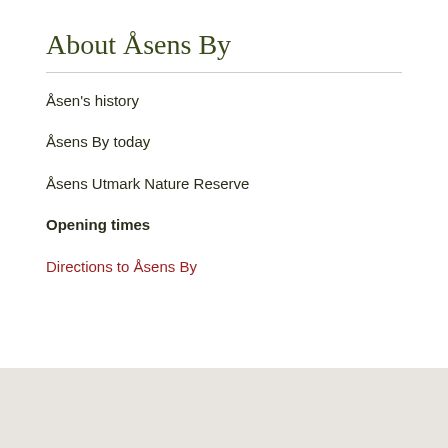About Åsens By
Åsen's history
Åsens By today
Åsens Utmark Nature Reserve
Opening times
Directions to Åsens By